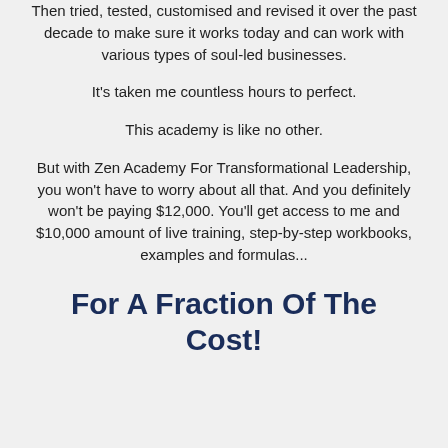Then tried, tested, customised and revised it over the past decade to make sure it works today and can work with various types of soul-led businesses.
It's taken me countless hours to perfect.
This academy is like no other.
But with Zen Academy For Transformational Leadership, you won't have to worry about all that. And you definitely won't be paying $12,000. You'll get access to me and $10,000 amount of live training, step-by-step workbooks, examples and formulas...
For A Fraction Of The Cost!